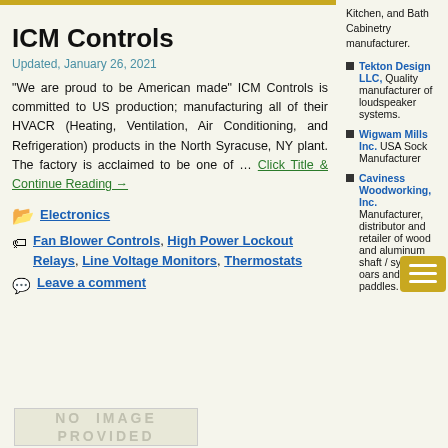ICM Controls
Updated, January 26, 2021
“We are proud to be American made” ICM Controls is committed to US production; manufacturing all of their HVACR (Heating, Ventilation, Air Conditioning, and Refrigeration) products in the North Syracuse, NY plant. The factory is acclaimed to be one of … Click Title & Continue Reading →
Electronics
Fan Blower Controls, High Power Lockout Relays, Line Voltage Monitors, Thermostats
Leave a comment
Kitchen, and Bath Cabinetry manufacturer.
Tekton Design LLC, Quality manufacturer of loudspeaker systems.
Wigwam Mills Inc. USA Sock Manufacturer
Caviness Woodworking, Inc. Manufacturer, distributor and retailer of wood and aluminum shaft / synthetic, oars and paddles.
[Figure (other): No image provided placeholder box]